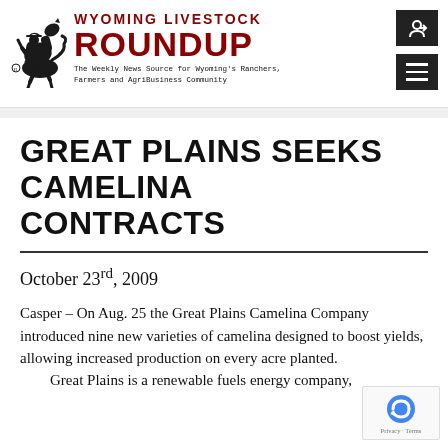Wyoming Livestock Roundup — The Weekly News Source for Wyoming's Ranchers, Farmers and AgriBusiness Community
GREAT PLAINS SEEKS CAMELINA CONTRACTS
October 23rd, 2009
Casper – On Aug. 25 the Great Plains Camelina Company introduced nine new varieties of camelina designed to boost yields, allowing increased production on every acre planted. Great Plains is a renewable fuels energy company,